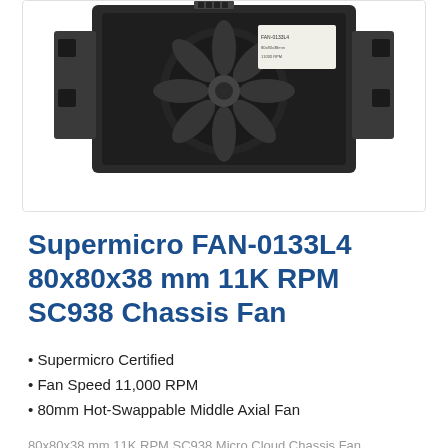[Figure (photo): Product photo of Supermicro FAN-0133L4 80x80x38mm chassis fan, viewed from top showing black plastic housing with label and connector]
Supermicro FAN-0133L4 80x80x38 mm 11K RPM SC938 Chassis Fan
Supermicro Certified
Fan Speed 11,000 RPM
80mm Hot-Swappable Middle Axial Fan
80x80x38 mm 11K RPM SC938 Micro Cloud Chassis Fan
In Stock